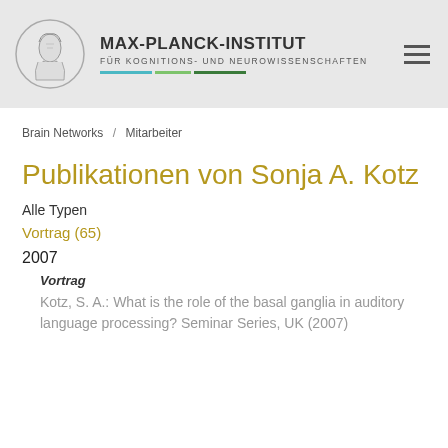MAX-PLANCK-INSTITUT FÜR KOGNITIONS- UND NEUROWISSENSCHAFTEN
Brain Networks / Mitarbeiter
Publikationen von Sonja A. Kotz
Alle Typen
Vortrag (65)
2007
Vortrag
Kotz, S. A.: What is the role of the basal ganglia in auditory language processing? Seminar Series, UK (2007)